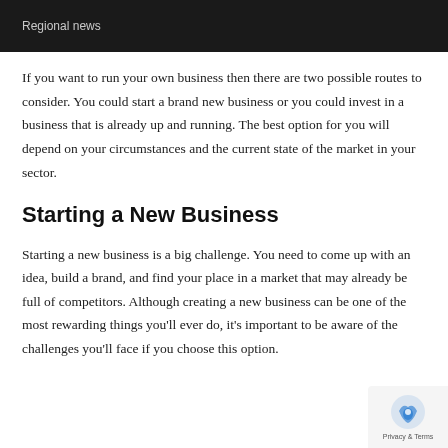Regional news
If you want to run your own business then there are two possible routes to consider. You could start a brand new business or you could invest in a business that is already up and running. The best option for you will depend on your circumstances and the current state of the market in your sector.
Starting a New Business
Starting a new business is a big challenge. You need to come up with an idea, build a brand, and find your place in a market that may already be full of competitors. Although creating a new business can be one of the most rewarding things you'll ever do, it's important to be aware of the challenges you'll face if you choose this option.